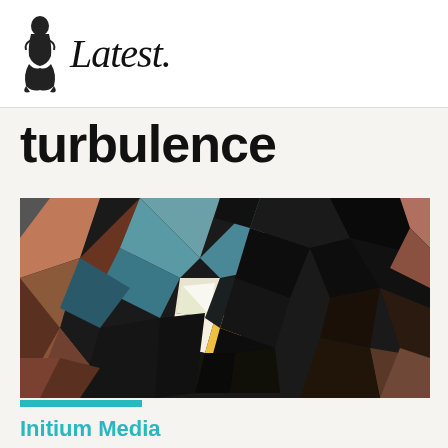Latest.
turbulence
[Figure (illustration): Abstract low-poly geometric art composed of triangular facets in dark blacks, muted teals/blues, warm browns/terracottas, and a bright central highlight of white and yellow, resembling a fragmented dark bird or abstract form against a geometric background.]
Initium Media